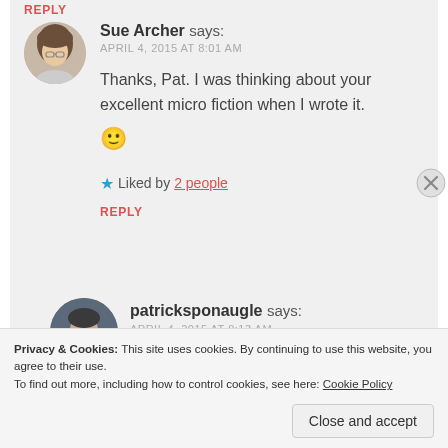REPLY
Sue Archer says:
APRIL 4, 2015 AT 8:01 AM
Thanks, Pat. I was thinking about your excellent micro fiction when I wrote it. 🙂
★ Liked by 2 people
REPLY
patricksponaugle says:
APRIL 4, 2015 AT 8:13 AM
Privacy & Cookies: This site uses cookies. By continuing to use this website, you agree to their use.
To find out more, including how to control cookies, see here: Cookie Policy
Close and accept